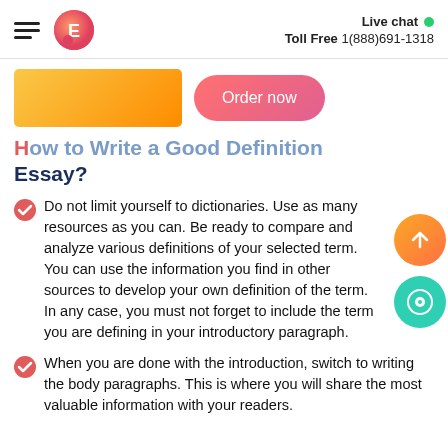Live chat  Toll Free 1(888)691-1318
[Figure (logo): Orange and red circular logo with letter E]
[Figure (infographic): Orange gradient rectangle banner and coral pink 'Order now' button]
How to Write a Good Definition Essay?
Do not limit yourself to dictionaries. Use as many resources as you can. Be ready to compare and analyze various definitions of your selected term. You can use the information you find in other sources to develop your own definition of the term. In any case, you must not forget to include the term you are defining in your introductory paragraph.
When you are done with the introduction, switch to writing the body paragraphs. This is where you will share the most valuable information with your readers.